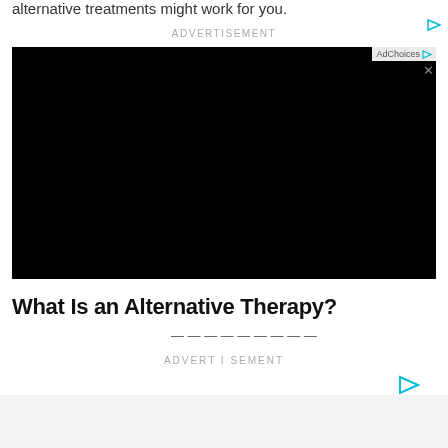alternative treatments might work for you.
[Figure (screenshot): Black advertisement video/display area with AdChoices badge and close button in top-right corner]
What Is an Alternative Therapy?
...
ADVERTISEMENT
[Figure (screenshot): Second advertisement area indicator with play icon on gray background]